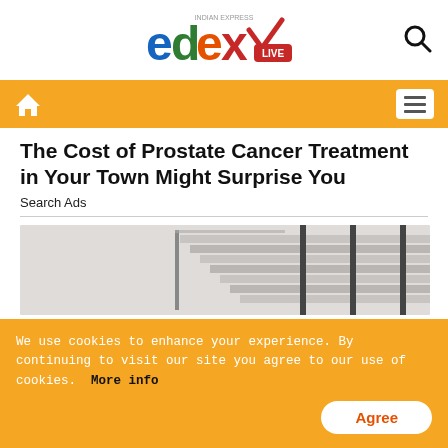edexLIVE (Indian Express)
The Cost of Prostate Cancer Treatment in Your Town Might Surprise You
Search Ads
[Figure (photo): Staircase interior with glass railing and dark metal posts, light grey tones]
ADVERTISE HERE
We use cookies to enhance your experience. By continuing to visit our site you agree to our use of cookies.  More info  Agree